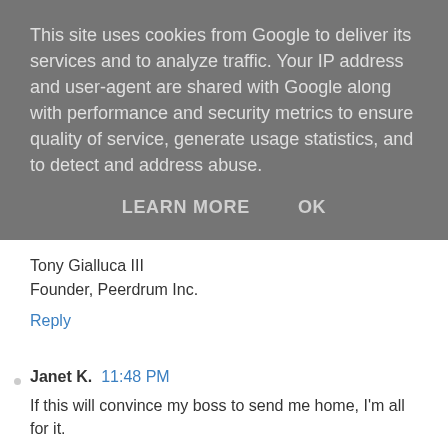This site uses cookies from Google to deliver its services and to analyze traffic. Your IP address and user-agent are shared with Google along with performance and security metrics to ensure quality of service, generate usage statistics, and to detect and address abuse.
LEARN MORE   OK
Tony Gialluca III
Founder, Peerdrum Inc.
Reply
Janet K.  11:48 PM
If this will convince my boss to send me home, I'm all for it.
Reply
Andy from Workshopshed  10:37 AM
I'm sure I'd have some fun if I thought this was installed on